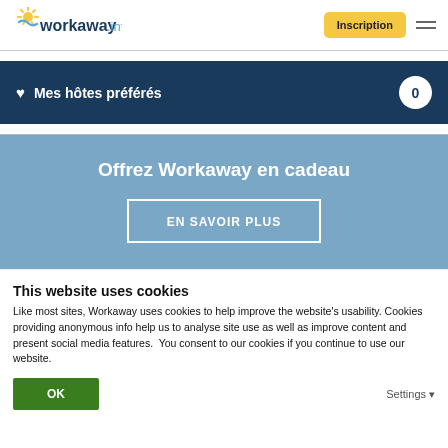[Figure (logo): Workaway.info logo with sun/wave icon]
Inscription
♥ Mes hôtes préférés  0
Offrez Workaway en cadeau
EN SAVOIR PLUS
This website uses cookies
Like most sites, Workaway uses cookies to help improve the website's usability. Cookies providing anonymous info help us to analyse site use as well as improve content and present social media features.  You consent to our cookies if you continue to use our website.
OK
Settings